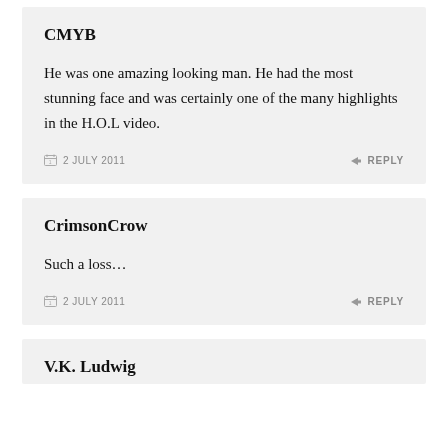CMYB
He was one amazing looking man. He had the most stunning face and was certainly one of the many highlights in the H.O.L video.
2 JULY 2011   REPLY
CrimsonCrow
Such a loss…
2 JULY 2011   REPLY
V.K. Ludwig